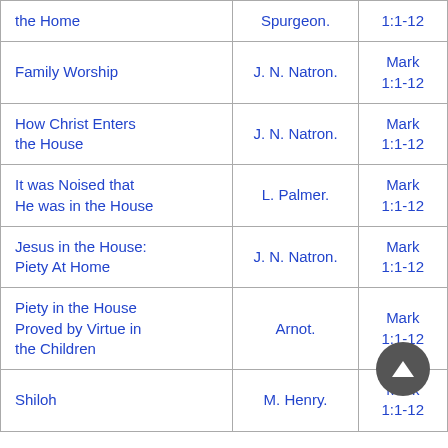| the Home | Spurgeon. | 1:1-12 |
| Family Worship | J. N. Natron. | Mark
1:1-12 |
| How Christ Enters the House | J. N. Natron. | Mark
1:1-12 |
| It was Noised that He was in the House | L. Palmer. | Mark
1:1-12 |
| Jesus in the House: Piety At Home | J. N. Natron. | Mark
1:1-12 |
| Piety in the House Proved by Virtue in the Children | Arnot. | Mark
1:1-12 |
| Shiloh | M. Henry. | Mark
1:1-12 |